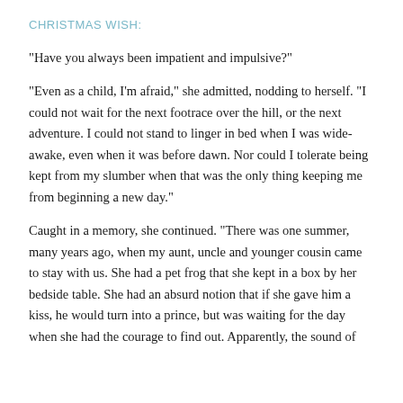CHRISTMAS WISH:
“Have you always been impatient and impulsive?”
“Even as a child, I’m afraid,” she admitted, nodding to herself. “I could not wait for the next footrace over the hill, or the next adventure. I could not stand to linger in bed when I was wide-awake, even when it was before dawn. Nor could I tolerate being kept from my slumber when that was the only thing keeping me from beginning a new day.”
Caught in a memory, she continued. “There was one summer, many years ago, when my aunt, uncle and younger cousin came to stay with us. She had a pet frog that she kept in a box by her bedside table. She had an absurd notion that if she gave him a kiss, he would turn into a prince, but was waiting for the day when she had the courage to find out. Apparently, the sound of